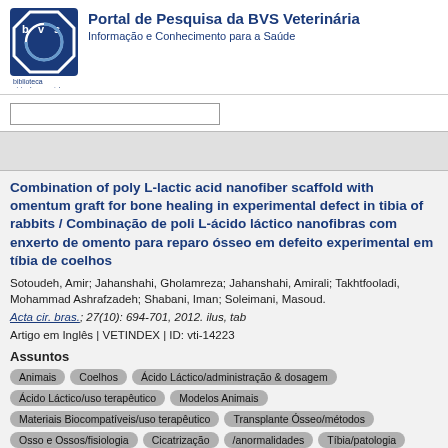Portal de Pesquisa da BVS Veterinária
Informação e Conhecimento para a Saúde
Combination of poly L-lactic acid nanofiber scaffold with omentum graft for bone healing in experimental defect in tibia of rabbits / Combinação de poli L-ácido láctico nanofibras com enxerto de omento para reparo ósseo em defeito experimental em tíbia de coelhos
Sotoudeh, Amir; Jahanshahi, Gholamreza; Jahanshahi, Amirali; Takhtfooladi, Mohammad Ashrafzadeh; Shabani, Iman; Soleimani, Masoud.
Acta cir. bras.; 27(10): 694-701, 2012. ilus, tab
Artigo em Inglês | VETINDEX | ID: vti-14223
Assuntos
Animais
Coelhos
Ácido Láctico/administração & dosagem
Ácido Láctico/uso terapêutico
Modelos Animais
Materiais Biocompatíveis/uso terapêutico
Transplante Ósseo/métodos
Osso e Ossos/fisiologia
Cicatrização
/anormalidades
Tíbia/patologia
Resumo